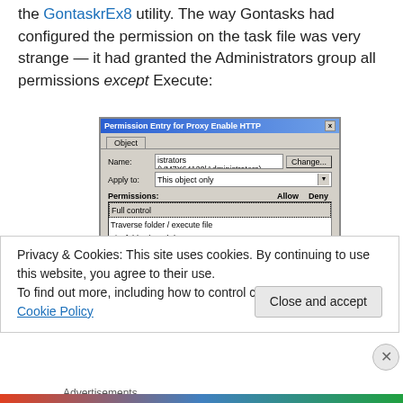the GontaskrEx8 utility. The way Gontasks had configured the permission on the task file was very strange — it had granted the Administrators group all permissions except Execute:
[Figure (screenshot): Windows Permission Entry for Proxy Enable HTTP dialog showing permissions list with Full control, Traverse folder / execute file (not checked), List folder / read data (checked), Read attributes (checked), Read extended attributes (checked), Create files / write data (checked), Create folders / append data (checked), Write attributes (checked). Name field shows: istrators (VM7X64120|Administrators). Apply to: This object only.]
Privacy & Cookies: This site uses cookies. By continuing to use this website, you agree to their use.
To find out more, including how to control cookies, see here: Cookie Policy